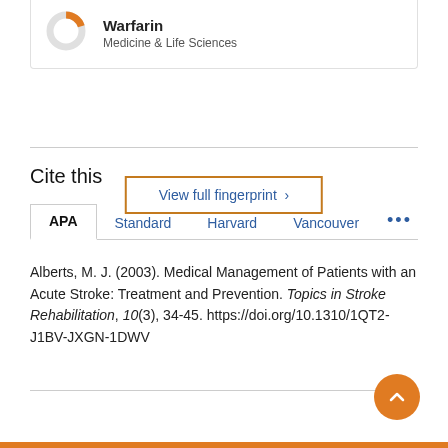[Figure (donut-chart): Small donut chart with orange segment indicating Warfarin topic fingerprint]
Warfarin
Medicine & Life Sciences
View full fingerprint >
Cite this
APA   Standard   Harvard   Vancouver   ...
Alberts, M. J. (2003). Medical Management of Patients with an Acute Stroke: Treatment and Prevention. Topics in Stroke Rehabilitation, 10(3), 34-45. https://doi.org/10.1310/1QT2-J1BV-JXGN-1DWV